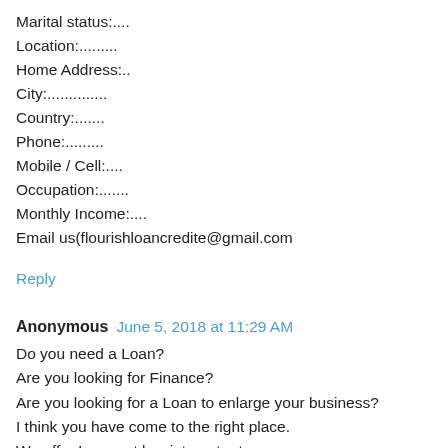Marital status:....
Location:..........
Home Address:..
City:..............
Country:.......
Phone:...........
Mobile / Cell:....
Occupation:.......
Monthly Income:....
Email us(flourishloancredite@gmail.com
Reply
Anonymous   June 5, 2018 at 11:29 AM
Do you need a Loan?
Are you looking for Finance?
Are you looking for a Loan to enlarge your business?
I think you have come to the right place.
We offer Loans at low interest rate.
Interested people should please contact us on
For immediate response to your application, Kindly